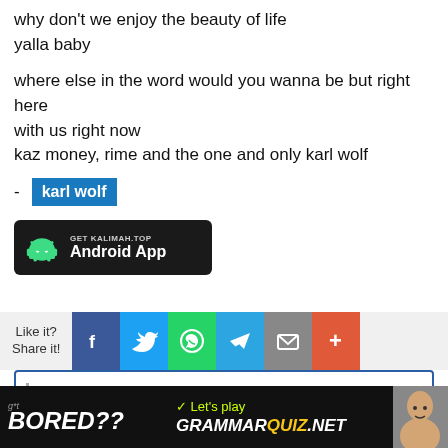why don't we enjoy the beauty of life
yalla baby
where else in the word would you wanna be but right here
with us right now
kaz money, rime and the one and only karl wolf
- karl wolf
[Figure (screenshot): Android app download banner for KALIMAH.TOP with Android robot icon]
[Figure (screenshot): Social share bar with Like it? Share it! label and Facebook, Twitter, WhatsApp, Telegram, Email, More buttons]
[Figure (screenshot): Add a comment input box with blue border]
[Figure (screenshot): Bottom banner: Got Bored?? Let's play GRAMMARQUIZ.NET with person image]